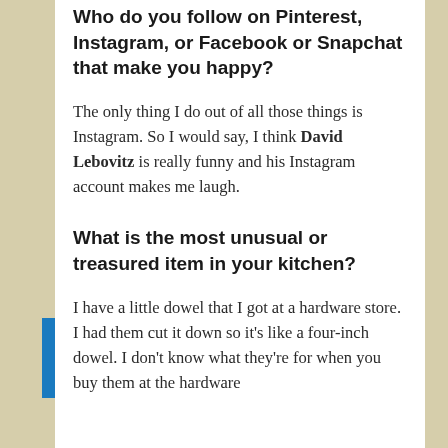Who do you follow on Pinterest, Instagram, or Facebook or Snapchat that make you happy?
The only thing I do out of all those things is Instagram. So I would say, I think David Lebovitz is really funny and his Instagram account makes me laugh.
What is the most unusual or treasured item in your kitchen?
I have a little dowel that I got at a hardware store. I had them cut it down so it's like a four-inch dowel. I don't know what they're for when you buy them at the hardware